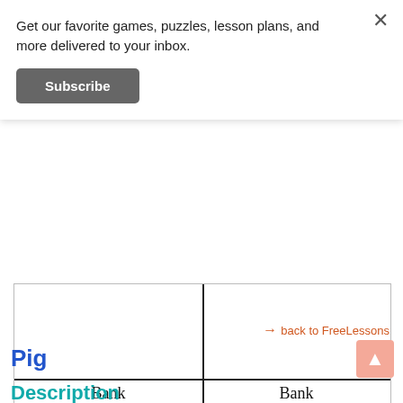Get our favorite games, puzzles, lesson plans, and more delivered to your inbox.
Subscribe
[Figure (other): A T-table or game board divided into four quadrants by a vertical and horizontal line, with 'Bank' labeled in each bottom-left and bottom-right cell.]
→ back to FreeLessons
Pig
Description